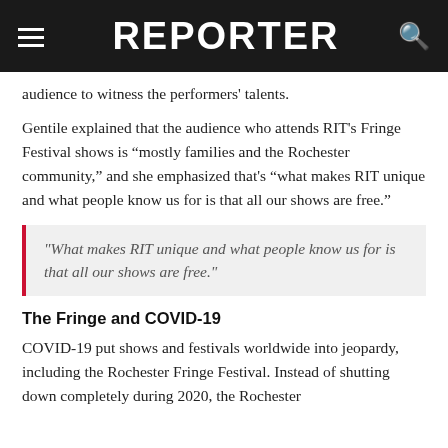REPORTER
audience to witness the performers' talents.
Gentile explained that the audience who attends RIT’s Fringe Festival shows is “mostly families and the Rochester community,” and she emphasized that's “what makes RIT unique and what people know us for is that all our shows are free.”
"What makes RIT unique and what people know us for is that all our shows are free."
The Fringe and COVID-19
COVID-19 put shows and festivals worldwide into jeopardy, including the Rochester Fringe Festival. Instead of shutting down completely during 2020, the Rochester